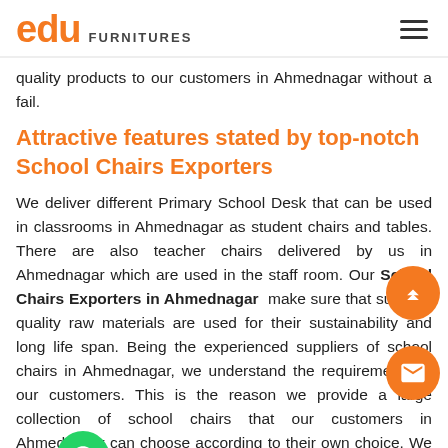edu FURNITURES
quality products to our customers in Ahmednagar without a fail.
Attractive features stated by top-notch School Chairs Exporters
We deliver different Primary School Desk that can be used in classrooms in Ahmednagar as student chairs and tables. There are also teacher chairs delivered by us in Ahmednagar which are used in the staff room. Our School Chairs Exporters in Ahmednagar make sure that superior quality raw materials are used for their sustainability and long life span. Being the experienced suppliers of school chairs in Ahmednagar, we understand the requirements of our customers. This is the reason we provide a large collection of school chairs that our customers in Ahmednagar can choose according to their own choice. We have a team of experienced designers in Ahmednagar and a separate quality control division to provide the products and supply them in Ahmednagar without any technical fault.